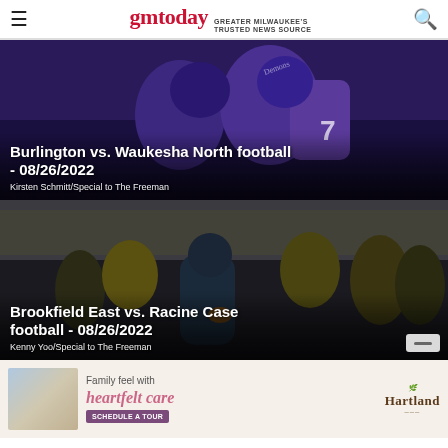gmtoday — GREATER MILWAUKEE'S TRUSTED NEWS SOURCE
[Figure (photo): Football players in purple uniforms during a game, Burlington vs. Waukesha North]
Burlington vs. Waukesha North football - 08/26/2022
Kirsten Schmitt/Special to The Freeman
[Figure (photo): Football player in dark navy uniform running with the ball, Brookfield East vs. Racine Case game]
Brookfield East vs. Racine Case football - 08/26/2022
Kenny Yoo/Special to The Freeman
[Figure (illustration): Advertisement for Hartland senior care community showing caregiver with elderly person. Text: Family feel with heartfelt care. Schedule a Tour button. Hartland logo.]